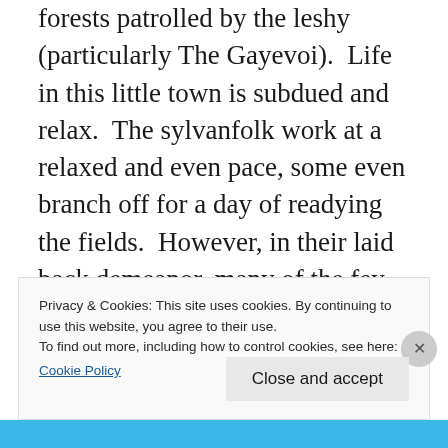forests patrolled by the leshy (particularly The Gayevoi).  Life in this little town is subdued and relax.  The sylvanfolk work at a relaxed and even pace, some even branch off for a day of readying the fields.  However, in their laid back demeanor, many of the fey here are quite weak, less than able to defend themselves.  While the Leshy can only provide so much backup, they aren't enough to hold off invaders.  The Fomorians take exceptional joy in this.  As such, the harvest festivals which embody the
Privacy & Cookies: This site uses cookies. By continuing to use this website, you agree to their use.
To find out more, including how to control cookies, see here:
Cookie Policy
Close and accept